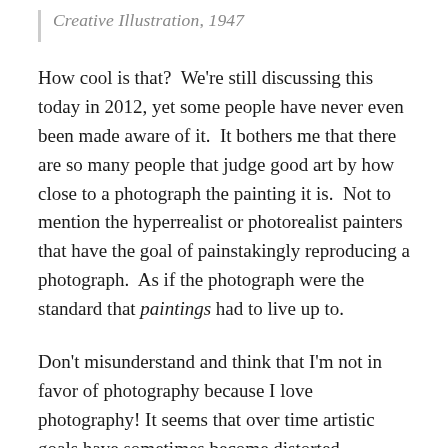Creative Illustration, 1947
How cool is that?  We're still discussing this today in 2012, yet some people have never even been made aware of it.  It bothers me that there are so many people that judge good art by how close to a photograph the painting it is.  Not to mention the hyperrealist or photorealist painters that have the goal of painstakingly reproducing a photograph.  As if the photograph were the standard that paintings had to live up to.
Don't misunderstand and think that I'm not in favor of photography because I love photography! It seems that over time artistic goals have sometimes become distorted.